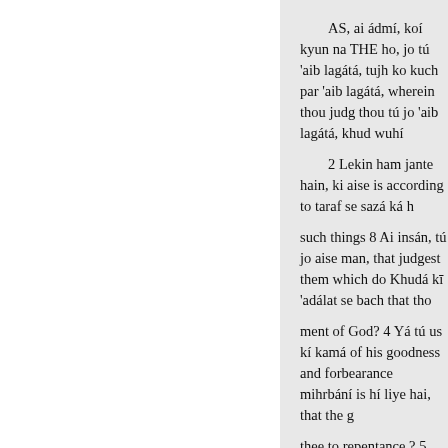AS, ai ádmí, koí kyun na THE ho, jo tú 'aib lagátá, tujh ko kuch par 'aib lagátá, wherein thou judg thou tú jo 'aib lagátá, khud wuhí
2 Lekin ham jante hain, ki aise is according to taraf se sazá ká h
such things 8 Ai insán, tú jo aise man, that judgest them which do Khudá kī 'adálat se bach that tho
ment of God? 4 Yá tú us kí kamá of his goodness and forbearance mihrbání is hí liye hai, that the g
thee to repentance ? 5 Balki tú ap khátir, impenitent heart treasures záhir hogí, apne liye day of wrat
the righteous judgment of God; 6 degá;
man according to his deeds :
7 Un ko, jo nek kám par gáim